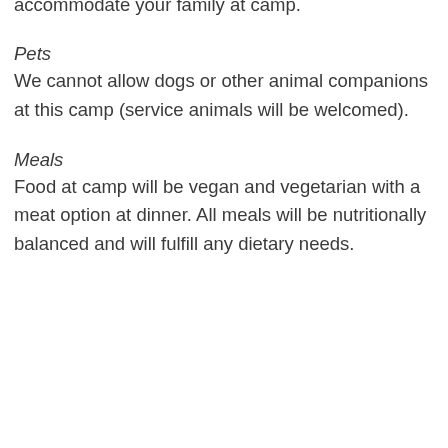details with accepted applicants to see if we can accommodate your family at camp.
Pets
We cannot allow dogs or other animal companions at this camp (service animals will be welcomed).
Meals
Food at camp will be vegan and vegetarian with a meat option at dinner. All meals will be nutritionally balanced and will fulfill any dietary needs.